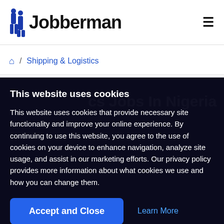Jobberman
/ Shipping & Logistics
This website uses cookies Jobs In Nigeria
This website uses cookies
This website uses cookies that provide necessary site functionality and improve your online experience. By continuing to use this website, you agree to the use of cookies on your device to enhance navigation, analyze site usage, and assist in our marketing efforts. Our privacy policy provides more information about what cookies we use and how you can change them.
Accept and Close
Learn More
Featured Jobs